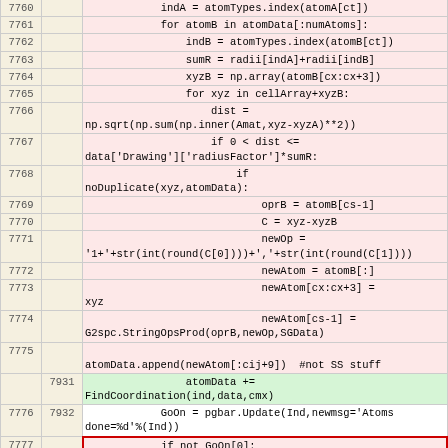| Line A | Line B | Code |
| --- | --- | --- |
| 7760 |  |     indA = atomTypes.index(atomA[ct]) |
| 7761 |  |     for atomB in atomData[:numAtoms]: |
| 7762 |  |         indB = atomTypes.index(atomB[ct]) |
| 7763 |  |         sumR = radii[indA]+radii[indB] |
| 7764 |  |         xyzB = np.array(atomB[cx:cx+3]) |
| 7765 |  |         for xyz in cellArray+xyzB: |
| 7766 |  |             dist =
np.sqrt(np.sum(np.inner(Amat,xyz-xyzA)**2)) |
| 7767 |  |             if 0 < dist <=
data['Drawing']['radiusFactor']*sumR: |
| 7768 |  |                 if
noDuplicate(xyz,atomData): |
| 7769 |  |                     oprB = atomB[cs-1] |
| 7770 |  |                     C = xyz-xyzB |
| 7771 |  |                     newOp =
'1+'+str(int(round(C[0])))+','+str(int(round(C[1]))) |
| 7772 |  |                     newAtom = atomB[:] |
| 7773 |  |                     newAtom[cx:cx+3] =
xyz |
| 7774 |  |                     newAtom[cs-1] =
G2spc.StringOpsProd(oprB,newOp,SGData) |
| 7775 |  | atomData.append(newAtom[:cij+9])  #not SS stuff |
|  | 7931 |             atomData +=
FindCoordination(ind,data,cmx) |
| 7776 | 7932 |             GoOn = pgbar.Update(Ind,newmsg='Atoms
done=%d'%(Ind)) |
| 7777 |  |             if not GoOn[0]: |
| 7778 |  |                 break |
|  | 7933 |             if not GoOn[0]: break |
| 7779 | 7934 |         pgbar.Destroy() |
| 7780 | 7935 |         data['Drawing']['Atoms'] = atomData |
| ... | ... |  |